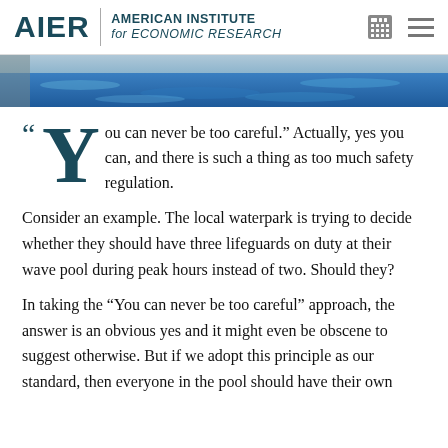AIER | AMERICAN INSTITUTE for ECONOMIC RESEARCH
[Figure (photo): Aerial or close-up photo of a blue water pool or waterpark]
“You can never be too careful.” Actually, yes you can, and there is such a thing as too much safety regulation.
Consider an example. The local waterpark is trying to decide whether they should have three lifeguards on duty at their wave pool during peak hours instead of two. Should they?
In taking the “You can never be too careful” approach, the answer is an obvious yes and it might even be obscene to suggest otherwise. But if we adopt this principle as our standard, then everyone in the pool should have their own